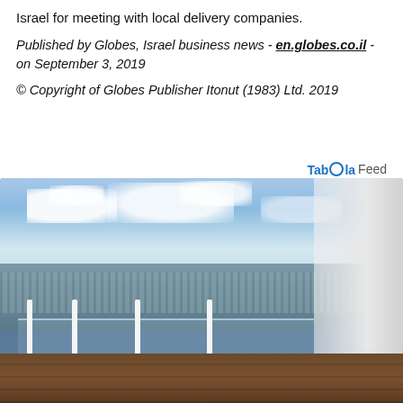Israel for meeting with local delivery companies.
Published by Globes, Israel business news - en.globes.co.il - on September 3, 2019
© Copyright of Globes Publisher Itonut (1983) Ltd. 2019
Taboola Feed
[Figure (photo): Aerial cityscape view from a high-rise balcony with glass railings and wooden floor, overlooking a dense urban area with sky and clouds in the background, likely Tel Aviv, Israel.]